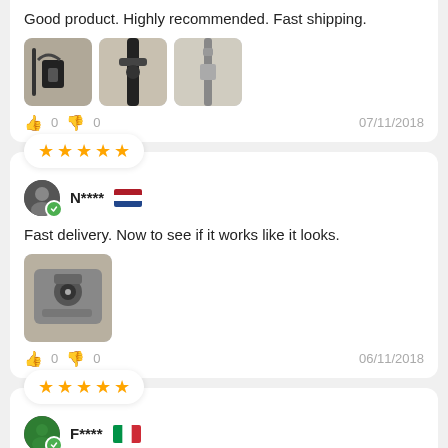Good product. Highly recommended. Fast shipping.
[Figure (photo): Three product photos showing earphone/headphone parts]
👍 0  👎 0    07/11/2018
[Figure (other): 5-star rating badge]
N****  🇳🇱
Fast delivery. Now to see if it works like it looks.
[Figure (photo): Single product photo showing machine/device]
👍 0  👎 0    06/11/2018
[Figure (other): 5-star rating badge]
F****  🇮🇹